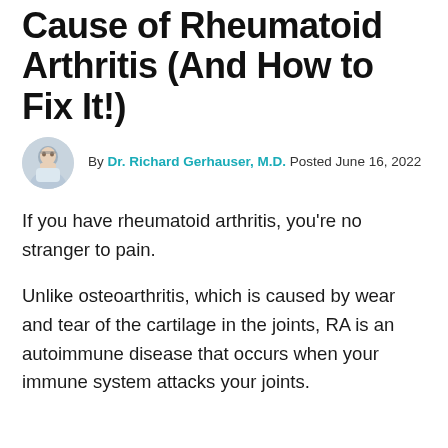Cause of Rheumatoid Arthritis (And How to Fix It!)
By Dr. Richard Gerhauser, M.D. Posted June 16, 2022
If you have rheumatoid arthritis, you're no stranger to pain.
Unlike osteoarthritis, which is caused by wear and tear of the cartilage in the joints, RA is an autoimmune disease that occurs when your immune system attacks your joints.